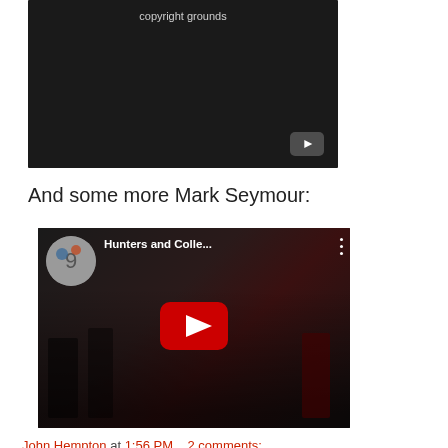[Figure (screenshot): YouTube video embed showing 'copyright grounds' message on a dark background with a small YouTube play icon in lower-right corner]
And some more Mark Seymour:
[Figure (screenshot): YouTube embedded video showing 'Hunters and Colle...' with a band performing on stage, red YouTube play button in center, channel avatar with globe/flag icon in top-left corner, three-dot menu in top-right]
John Hempton at 1:56 PM     2 comments:
Share